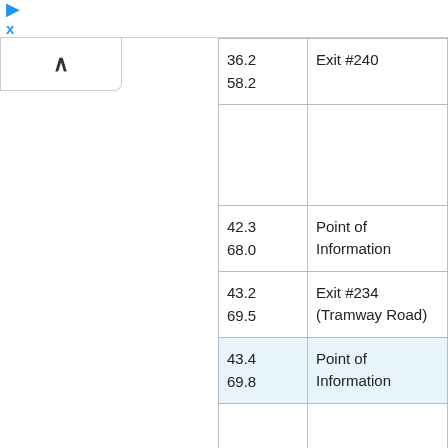x
| Distance | Description |
| --- | --- |
| 36.2
58.2 | Exit #240 |
| 42.3
68.0 | Point of Information |
| 43.2
69.5 | Exit #234 (Tramway Road) |
| 43.4
69.8 | Point of Information |
|  |  |